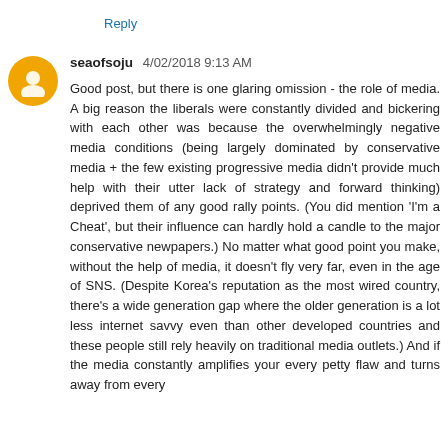Reply
seaofsoju 4/02/2018 9:13 AM
Good post, but there is one glaring omission - the role of media. A big reason the liberals were constantly divided and bickering with each other was because the overwhelmingly negative media conditions (being largely dominated by conservative media + the few existing progressive media didn't provide much help with their utter lack of strategy and forward thinking) deprived them of any good rally points. (You did mention 'I'm a Cheat', but their influence can hardly hold a candle to the major conservative newpapers.) No matter what good point you make, without the help of media, it doesn't fly very far, even in the age of SNS. (Despite Korea's reputation as the most wired country, there's a wide generation gap where the older generation is a lot less internet savvy even than other developed countries and these people still rely heavily on traditional media outlets.) And if the media constantly amplifies your every petty flaw and turns away from every